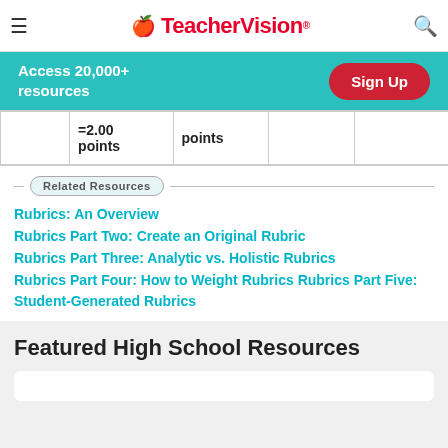TeacherVision
Access 20,000+ resources
|  | =2.00 points | points |  |  |
Related Resources
Rubrics: An Overview
Rubrics Part Two: Create an Original Rubric
Rubrics Part Three: Analytic vs. Holistic Rubrics
Rubrics Part Four: How to Weight Rubrics Rubrics Part Five: Student-Generated Rubrics
Featured High School Resources